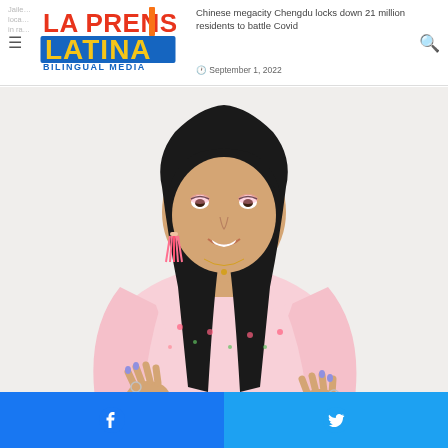La Prensa Latina Bilingual Media
Chinese megacity Chengdu locks down 21 million residents to battle Covid
September 1, 2022
[Figure (photo): Young woman with dark straight hair and bangs, wearing a pink floral crop top with long sleeves, smiling and looking down, hands raised with fingers spread]
Facebook share | Twitter share